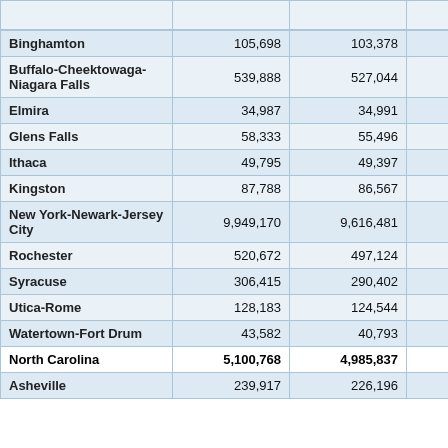| Metropolitan Area | Col1 | Col2 | Col3 | Col4 |
| --- | --- | --- | --- | --- |
| Binghamton | 105,698 | 103,378 | 105,819 | 104,0… |
| Buffalo-Cheektowaga-Niagara Falls | 539,888 | 527,044 | 539,840 | 531,8… |
| Elmira | 34,987 | 34,991 | 35,098 | 34,9… |
| Glens Falls | 58,333 | 55,496 | 58,315 | 55,9… |
| Ithaca | 49,795 | 49,397 | 49,738 | 49,4… |
| Kingston | 87,788 | 86,567 | 87,580 | 86,4… |
| New York-Newark-Jersey City | 9,949,170 | 9,616,481 | 9,938,480 | 9,521,4… |
| Rochester | 520,672 | 497,124 | 519,748 | 496,4… |
| Syracuse | 306,415 | 290,402 | 306,637 | 290,5… |
| Utica-Rome | 128,183 | 124,544 | 128,272 | 124,5… |
| Watertown-Fort Drum | 43,582 | 40,793 | 43,754 | 41,1… |
| North Carolina | 5,100,768 | 4,985,837 | 5,070,827 | 4,978,7… |
| Asheville | 239,917 | 226,196 | 237,702 | 225,8… |